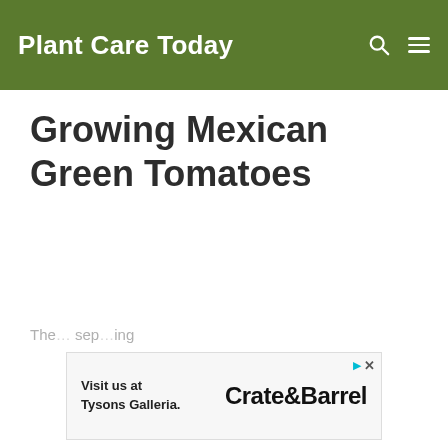Plant Care Today
Growing Mexican Green Tomatoes
The … sep… ing
[Figure (other): Crate & Barrel advertisement banner: 'Visit us at Tysons Galleria. Crate&Barrel']